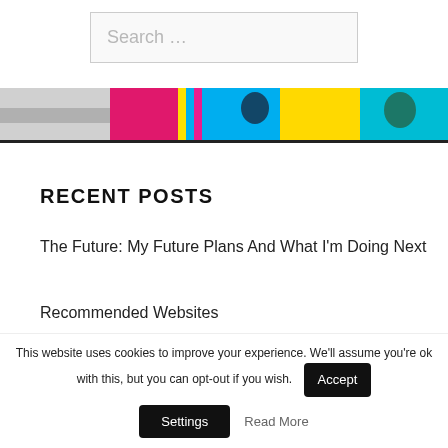Search …
[Figure (illustration): Colorful banner image with cartoon-style characters on hexagonal backgrounds in pink, blue, yellow, and cyan colors]
RECENT POSTS
The Future: My Future Plans And What I'm Doing Next
Recommended Websites
Goodbye To The Blog
OK K.O.! Let's Be Heroes Creator Ian Jones-
This website uses cookies to improve your experience. We'll assume you're ok with this, but you can opt-out if you wish.
Accept
Settings
Read More